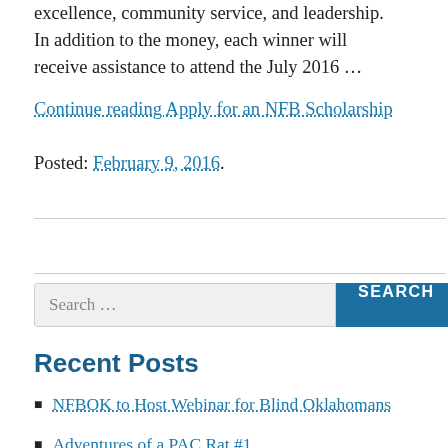excellence, community service, and leadership. In addition to the money, each winner will receive assistance to attend the July 2016 …
Continue reading Apply for an NFB Scholarship
Posted: February 9, 2016.
Search …
Recent Posts
NFBOK to Host Webinar for Blind Oklahomans
Adventures of a PAC Rat #1
NFBOK to Host Legislative Reception …